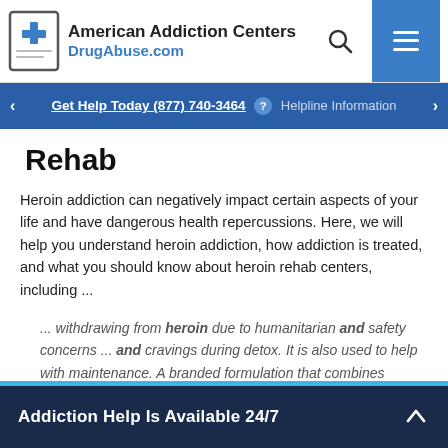American Addiction Centers DrugAbuse.com
Get Help Today (877) 740-3464 ? Helpline Information
Rehab
Heroin addiction can negatively impact certain aspects of your life and have dangerous health repercussions. Here, we will help you understand heroin addiction, how addiction is treated, and what you should know about heroin rehab centers, including ...
... withdrawing from heroin due to humanitarian and safety concerns ... and cravings during detox. It is also used to help with maintenance. A branded formulation that combines buprenorphine with naloxone is available as Suboxone ... continue reading
Addiction Help Is Available 24/7